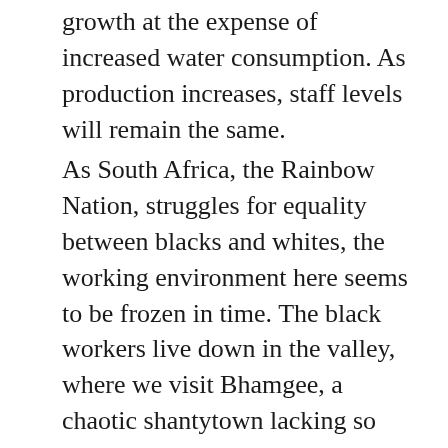growth at the expense of increased water consumption. As production increases, staff levels will remain the same.
As South Africa, the Rainbow Nation, struggles for equality between blacks and whites, the working environment here seems to be frozen in time. The black workers live down in the valley, where we visit Bhamgee, a chaotic shantytown lacking so much as roads and basic conveniences. What was once a small village has now grown to accommodate the arrival of prostitutes, who have made their way to the valley at the prospect of a large population of millworkers and transport drivers. Prostitution, hiv and AIDS are now endemic to the area.